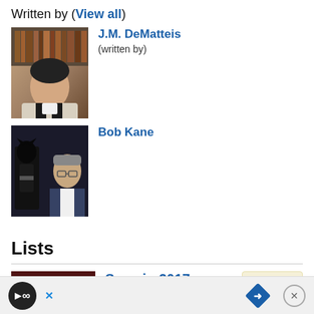Written by (View all)
J.M. DeMatteis (written by)
Bob Kane
Lists
Seen in 2017 (341 items) 36 votes — list by hsallinen — Published 5 years, 7 months ago · 1 comment
Films Watched in 2019 (328 items) 29 votes — list by PuloRoman